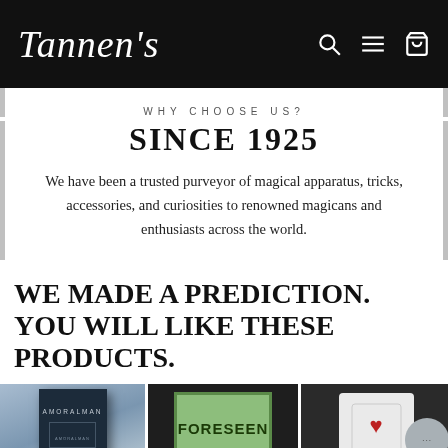Tannen's
WHY CHOOSE US?
SINCE 1925
We have been a trusted purveyor of magical apparatus, tricks, accessories, and curiosities to renowned magicans and enthusiasts across the world.
WE MADE A PREDICTION. YOU WILL LIKE THESE PRODUCTS.
[Figure (photo): Three product images: Amoralman book, Foreseen card box, and a third product partially visible with a chat/recaptcha bubble overlay]